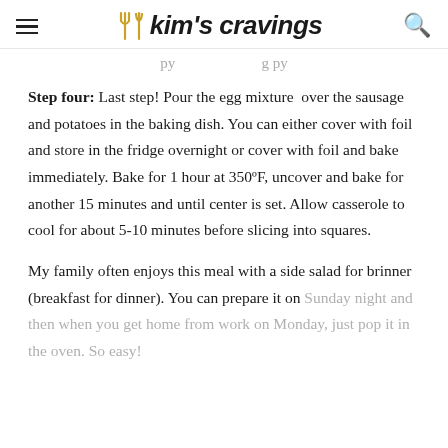Kim's Cravings
...py ...g py
Step four: Last step! Pour the egg mixture over the sausage and potatoes in the baking dish. You can either cover with foil and store in the fridge overnight or cover with foil and bake immediately. Bake for 1 hour at 350ºF, uncover and bake for another 15 minutes and until center is set. Allow casserole to cool for about 5-10 minutes before slicing into squares.
My family often enjoys this meal with a side salad for brinner (breakfast for dinner). You can prepare it on Sunday night and then when you get home from work on Monday, just pop it in the oven. So easy!